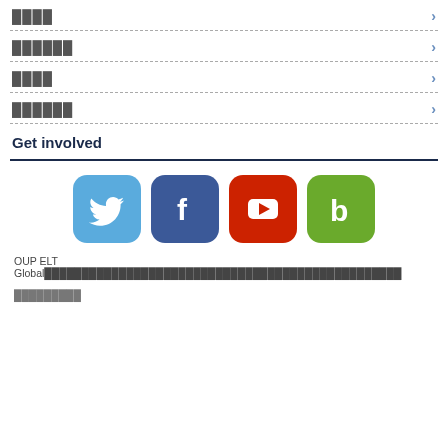████
██████
████
██████
Get involved
[Figure (logo): Social media icons: Twitter (blue bird), Facebook (blue f), YouTube (red play button), Bloglovin (green b)]
OUP ELT Global████████████████████████████████████████████████
█████████